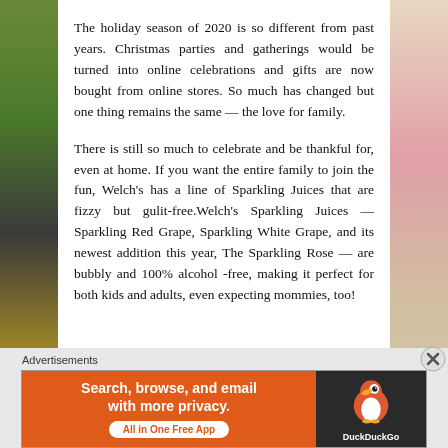The holiday season of 2020 is so different from past years. Christmas parties and gatherings would be turned into online celebrations and gifts are now bought from online stores. So much has changed but one thing remains the same — the love for family.
There is still so much to celebrate and be thankful for, even at home. If you want the entire family to join the fun, Welch's has a line of Sparkling Juices that are fizzy but gulit-free.Welch's Sparkling Juices — Sparkling Red Grape, Sparkling White Grape, and its newest addition this year, The Sparkling Rose — are bubbly and 100% alcohol -free, making it perfect for both kids and adults, even expecting mommies, too!
Advertisements
[Figure (infographic): DuckDuckGo advertisement banner: orange left section with text 'Search, browse, and email with more privacy. All in One Free App' and dark right section with DuckDuckGo duck logo]